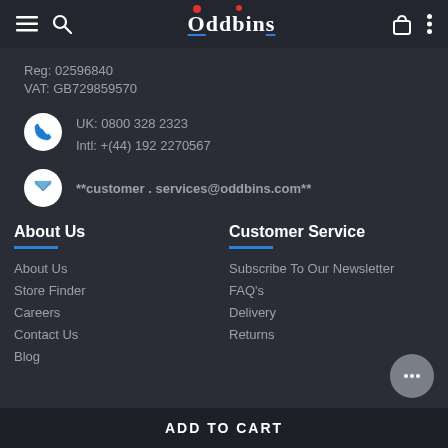Oddbins
Reg: 02596840
VAT: GB729859570
UK: 0800 328 2323
Intl: +(44) 192 2270567
**customer . services@oddbins.com**
About Us
Customer Service
About Us
Store Finder
Careers
Contact Us
Blog
Subscribe To Our Newsletter
FAQ's
Delivery
Returns
ADD TO CART